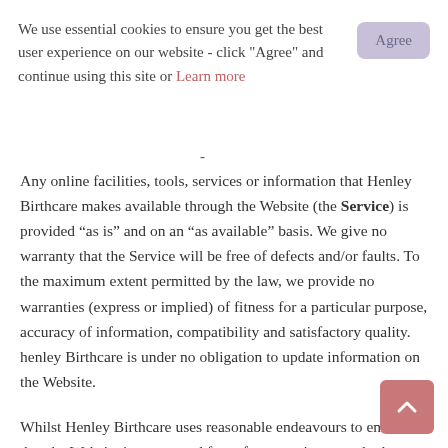We use essential cookies to ensure you get the best user experience on our website - click "Agree" and continue using this site or Learn more
-
Any online facilities, tools, services or information that Henley Birthcare makes available through the Website (the Service) is provided “as is” and on an “as available” basis. We give no warranty that the Service will be free of defects and/or faults. To the maximum extent permitted by the law, we provide no warranties (express or implied) of fitness for a particular purpose, accuracy of information, compatibility and satisfactory quality. henley Birthcare is under no obligation to update information on the Website.
Whilst Henley Birthcare uses reasonable endeavours to ensure that the Website is secure and free of errors, viruses and other malware, we give no warranty or guarantee in that regard and Users take responsibility for their own security, that of their personal details and their computers.